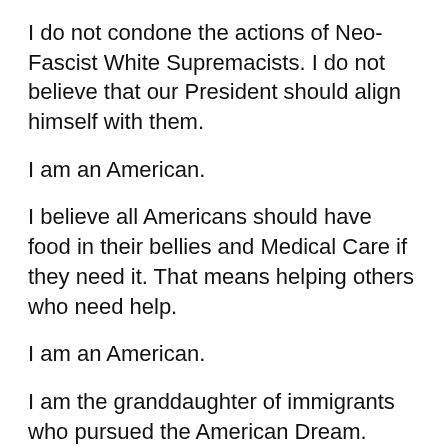I do not condone the actions of Neo-Fascist White Supremacists. I do not believe that our President should align himself with them.
I am an American.
I believe all Americans should have food in their bellies and Medical Care if they need it. That means helping others who need help.
I am an American.
I am the granddaughter of immigrants who pursued the American Dream.
I reap the benefits of their toil and courage. I believe I can't hoard all of it.
I am an American.